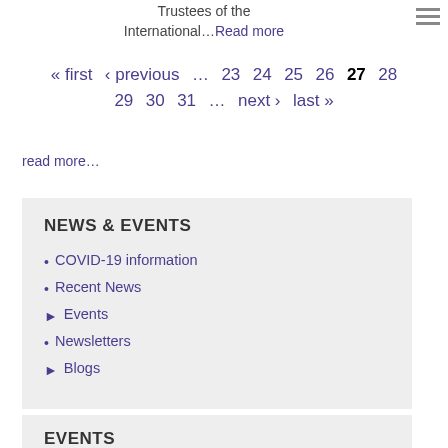Trustees of the International…Read more
« first ‹ previous … 23 24 25 26 27 28 29 30 31 … next › last »
read more…
NEWS & EVENTS
COVID-19 information
Recent News
Events
Newsletters
Blogs
EVENTS